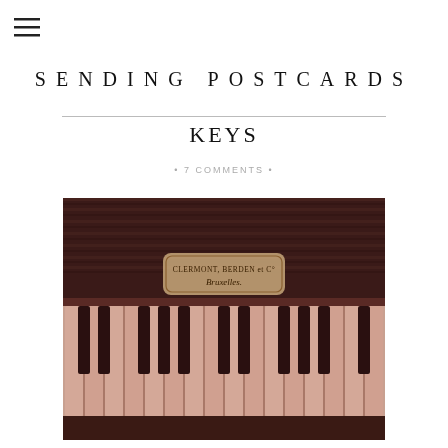[Figure (other): Hamburger menu icon (three horizontal lines)]
SENDING POSTCARDS
KEYS
• 7 COMMENTS •
[Figure (photo): Close-up photograph of antique piano keyboard with a maker's label reading 'CLERMONT, BERDEN et C° Bruxelles' on the wooden body above the keys. The keys have a warm pinkish-brown tone.]